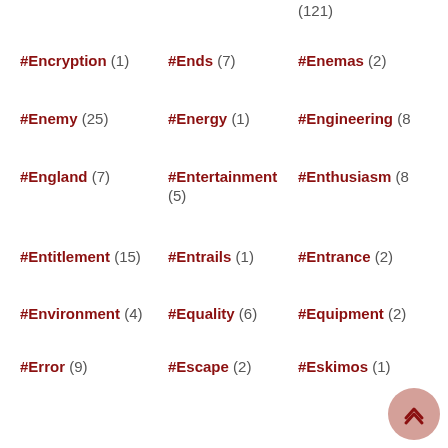(121)
#Encryption (1)
#Ends (7)
#Enemas (2)
#Enemy (25)
#Energy (1)
#Engineering (8)
#England (7)
#Entertainment (5)
#Enthusiasm (8)
#Entitlement (15)
#Entrails (1)
#Entrance (2)
#Environment (4)
#Equality (6)
#Equipment (2)
#Error (9)
#Escape (2)
#Eskimos (1)
#Espionage (82)
#Eternity (1)
#Ethics (6)
#Eunuchs (1)
#Europe (2)
#Evacuations (1)
#Evenings (6)
#Evil (98)
#Evolution (7)